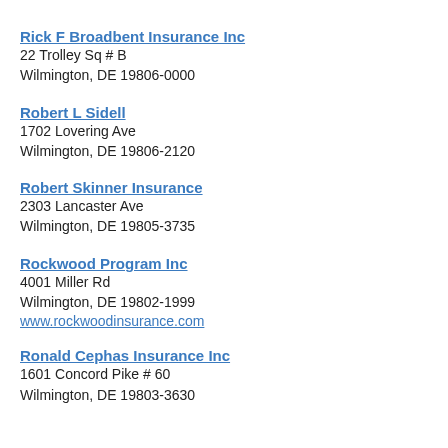Rick F Broadbent Insurance Inc
22 Trolley Sq # B
Wilmington, DE 19806-0000
Robert L Sidell
1702 Lovering Ave
Wilmington, DE 19806-2120
Robert Skinner Insurance
2303 Lancaster Ave
Wilmington, DE 19805-3735
Rockwood Program Inc
4001 Miller Rd
Wilmington, DE 19802-1999
www.rockwoodinsurance.com
Ronald Cephas Insurance Inc
1601 Concord Pike # 60
Wilmington, DE 19803-3630